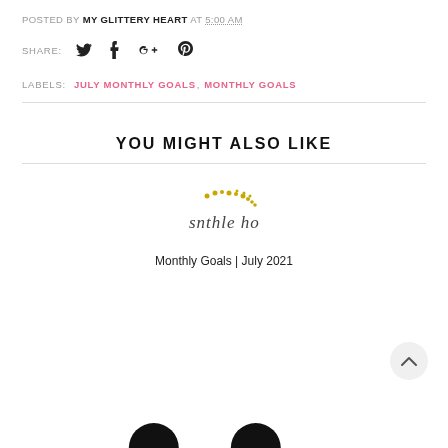POSTED BY MY GLITTERY HEART AT 5:00 AM
SHARE:
LABELS:  JULY MONTHLY GOALS,  MONTHLY GOALS
YOU MIGHT ALSO LIKE
[Figure (illustration): Decorative signature/logo image with golden dots and cursive text reading 'mothle ho' or similar stylized script, for Monthly Goals | July 2021]
Monthly Goals | July 2021
[Figure (illustration): Partial view of two large black circular shapes at the bottom of the page]